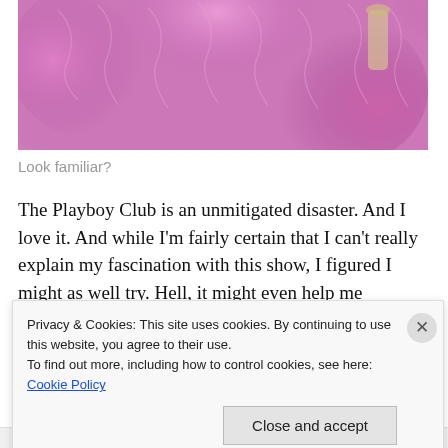[Figure (photo): Photo of pink/purple feather boa or feathery costume piece, cropped at top]
Look familiar?
The Playboy Club is an unmitigated disaster. And I love it. And while I'm fairly certain that I can't really explain my fascination with this show, I figured I might as well try. Hell, it might even help me understand it.
The very first thing that hit me in the very first minute of the very first episode was an overwhelming sense of déjà
Privacy & Cookies: This site uses cookies. By continuing to use this website, you agree to their use.
To find out more, including how to control cookies, see here: Cookie Policy